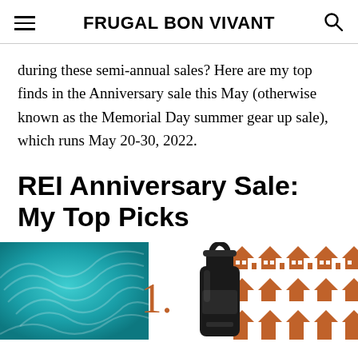FRUGAL BON VIVANT
during these semi-annual sales? Here are my top finds in the Anniversary sale this May (otherwise known as the Memorial Day summer gear up sale), which runs May 20-30, 2022.
REI Anniversary Sale: My Top Picks
[Figure (photo): Three product images: a teal quilted sleeping pad on the left, a black Hydroflask water bottle in the center with a large orange number '1.' overlay, and an orange and white patterned fabric/bag on the right.]